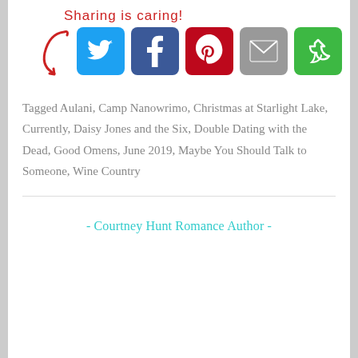[Figure (infographic): Sharing is caring! text with red arrow pointing to social sharing buttons: Twitter (blue), Facebook (dark blue), Pinterest (red), Mail (grey), share (green)]
Tagged Aulani, Camp Nanowrimo, Christmas at Starlight Lake, Currently, Daisy Jones and the Six, Double Dating with the Dead, Good Omens, June 2019, Maybe You Should Talk to Someone, Wine Country
- Courtney Hunt Romance Author -